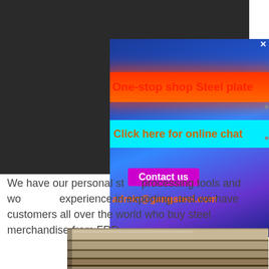[Figure (screenshot): Dark panel background with exclamation circle icon and popup overlay showing steel plate advertisement with red banner 'One-stop shop Steel plate', cyan banner 'Click here for online chat', purple Contact us button, and email admin@gangsteel.com on blue gradient background]
We have our personal steel processing tools and wo experience in exporting, and we have customers all over the world who buy steel merchandise from FRD.
[Figure (photo): Photo of stacked steel plates]